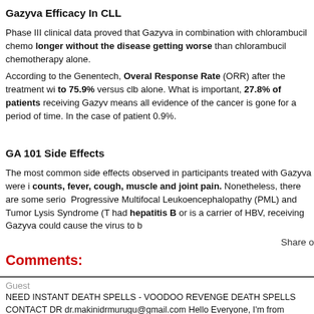Gazyva Efficacy In CLL
Phase III clinical data proved that Gazyva in combination with chlorambucil chemo longer without the disease getting worse than chlorambucil chemotherapy alone.
According to the Genentech, Overal Response Rate (ORR) after the treatment wi to 75.9% versus clb alone. What is important, 27.8% of patients receiving Gazyv means all evidence of the cancer is gone for a period of time. In the case of patient 0.9%.
GA 101 Side Effects
The most common side effects observed in participants treated with Gazyva were i counts, fever, cough, muscle and joint pain. Nonetheless, there are some serio Progressive Multifocal Leukoencephalopathy (PML) and Tumor Lysis Syndrome (T had hepatitis B or is a carrier of HBV, receiving Gazyva could cause the virus to b
Share o
Comments:
Guest
NEED INSTANT DEATH SPELLS - VOODOO REVENGE DEATH SPELLS CONTACT DR dr.makinidrmurugu@gmail.com Hello Everyone, I'm from Switzerland, I want to say a big you helped cast on Claudia who has been a big pain to my life, she takes away my happi He even went to stay with her because her parents are rich and she has a house, am her world know about your good work. I will forever be grateful to you because without you